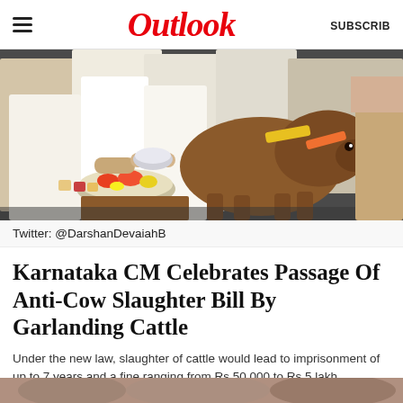Outlook   SUBSCRIBE
[Figure (photo): People in white traditional clothing garlanding a brown cow with yellow and orange bands, with a tray of food/flowers visible in the foreground, outdoors on a street.]
Twitter: @DarshanDevaiahB
Karnataka CM Celebrates Passage Of Anti-Cow Slaughter Bill By Garlanding Cattle
Under the new law, slaughter of cattle would lead to imprisonment of up to 7 years and a fine ranging from Rs 50,000 to Rs 5 lakh.
09 February 2021